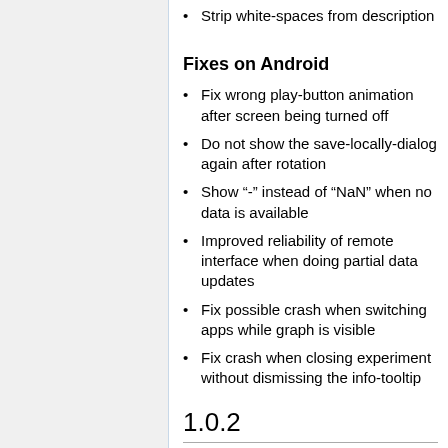Strip white-spaces from description
Fixes on Android
Fix wrong play-button animation after screen being turned off
Do not show the save-locally-dialog again after rotation
Show "-" instead of "NaN" when no data is available
Improved reliability of remote interface when doing partial data updates
Fix possible crash when switching apps while graph is visible
Fix crash when closing experiment without dismissing the info-tooltip
1.0.2
27.09.2016